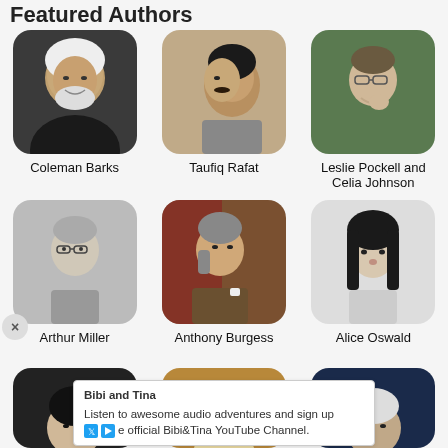Featured Authors
[Figure (photo): Photo of Coleman Barks]
Coleman Barks
[Figure (photo): Photo of Taufiq Rafat]
Taufiq Rafat
[Figure (photo): Photo of Leslie Pockell and Celia Johnson]
Leslie Pockell and Celia Johnson
[Figure (photo): Photo of Arthur Miller]
Arthur Miller
[Figure (photo): Photo of Anthony Burgess]
Anthony Burgess
[Figure (photo): Photo of Alice Oswald]
Alice Oswald
[Figure (photo): Partial photo of third row author 1]
[Figure (photo): Partial photo of William Shakespeare]
[Figure (photo): Partial photo of third row author 3]
Bibi and Tina
Listen to awesome audio adventures and sign up
e official Bibi&Tina YouTube Channel.